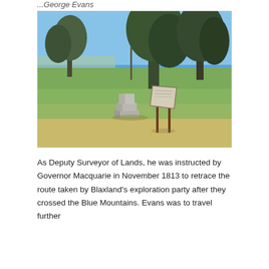...George Evans
[Figure (photo): Outdoor photograph showing a grassy clearing with trees. In the foreground there is a stone tiered monument/plaque on a base, and to its right a brown wooden-framed interpretive sign board. The background shows open green fields and eucalyptus trees under a clear blue sky.]
As Deputy Surveyor of Lands, he was instructed by Governor Macquarie in November 1813 to retrace the route taken by Blaxland's exploration party after they crossed the Blue Mountains. Evans was to travel further